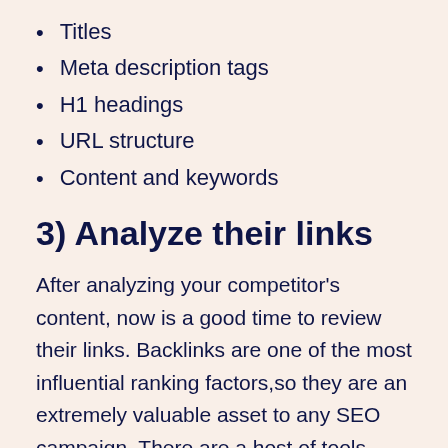Titles
Meta description tags
H1 headings
URL structure
Content and keywords
3) Analyze their links
After analyzing your competitor’s content, now is a good time to review their links. Backlinks are one of the most influential ranking factors,so they are an extremely valuable asset to any SEO campaign. There are a host of tools available online to analyze your competitor’s backlinks profile — some of the